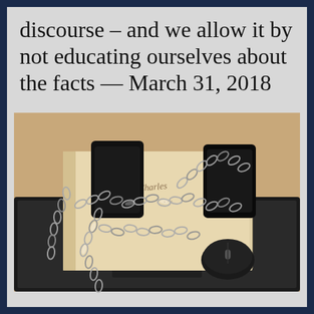discourse – and we allow it by not educating ourselves about the facts — March 31, 2018
[Figure (photo): A book, smartphone, laptop, and computer mouse bound together with heavy metal chains, placed on a beige/tan surface, representing restricted access to information or censorship.]